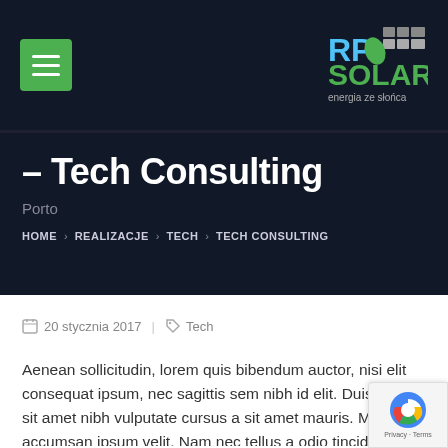RP Solar - energia ze słońca
– Tech Consulting
Porto
HOME > REALIZACJE > TECH > TECH CONSULTING
20 stycznia 2017  Tech
Aenean sollicitudin, lorem quis bibendum auctor, nisi elit consequat ipsum, nec sagittis sem nibh id elit. Duis sed sit amet nibh vulputate cursus a sit amet mauris. Morb accumsan ipsum velit. Nam nec tellus a odio tincidunt d...